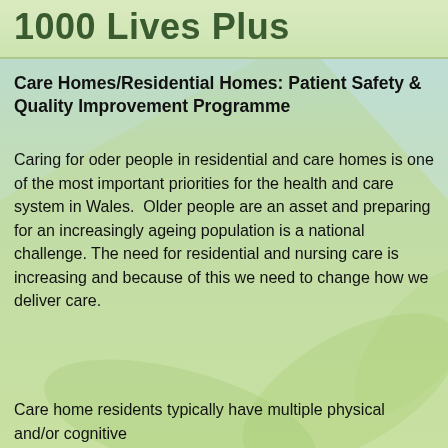1000 Lives Plus
Care Homes/Residential Homes: Patient Safety & Quality Improvement Programme
Caring for oder people in residential and care homes is one of the most important priorities for the health and care system in Wales.  Older people are an asset and preparing for an increasingly ageing population is a national challenge. The need for residential and nursing care is increasing and because of this we need to change how we deliver care.
Care home residents typically have multiple physical and/or cognitive